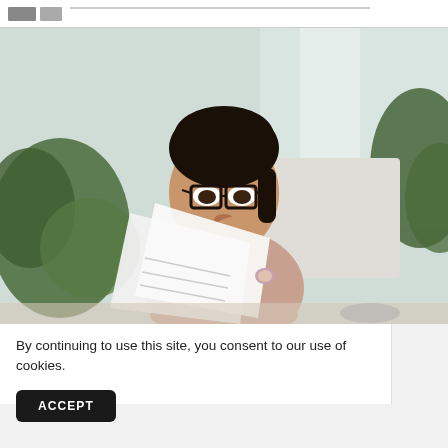[Figure (photo): Woman with glasses looking concerned while reading documents, seated at a desk with plants in the background]
By continuing to use this site, you consent to our use of cookies.
ACCEPT